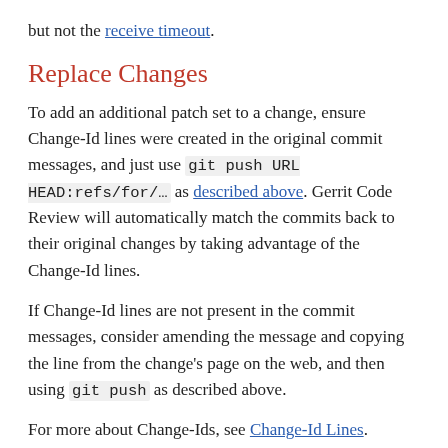but not the receive timeout.
Replace Changes
To add an additional patch set to a change, ensure Change-Id lines were created in the original commit messages, and just use git push URL HEAD:refs/for/… as described above. Gerrit Code Review will automatically match the commits back to their original changes by taking advantage of the Change-Id lines.
If Change-Id lines are not present in the commit messages, consider amending the message and copying the line from the change's page on the web, and then using git push as described above.
For more about Change-Ids, see Change-Id Lines.